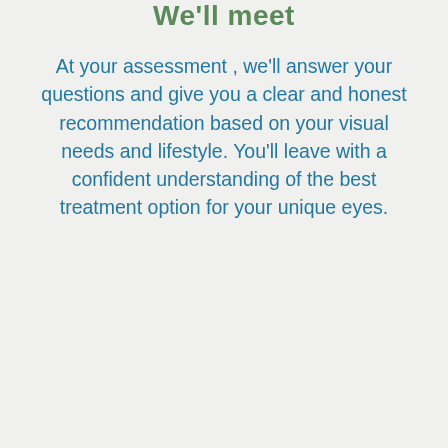We'll meet
At your assessment , we'll answer your questions and give you a clear and honest recommendation based on your visual needs and lifestyle. You'll leave with a confident understanding of the best treatment option for your unique eyes.